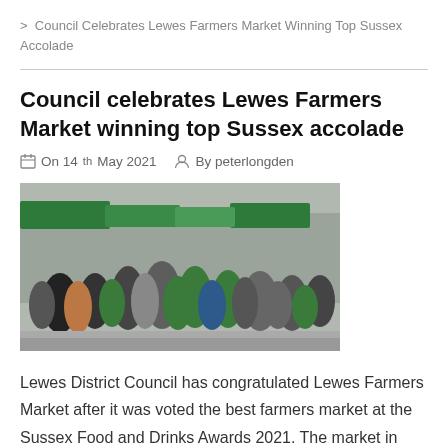> Council Celebrates Lewes Farmers Market Winning Top Sussex Accolade
Council celebrates Lewes Farmers Market winning top Sussex accolade
On 14th May 2021   By peterlongden
[Figure (photo): Group photo of farmers market vendors and staff gathered outdoors at a market, with green canopies visible in the background]
Lewes District Council has congratulated Lewes Farmers Market after it was voted the best farmers market at the Sussex Food and Drinks Awards 2021. The market in Cliffe Precinct was established in 1998